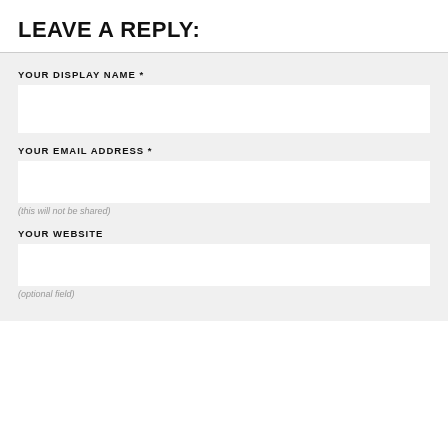LEAVE A REPLY:
YOUR DISPLAY NAME *
[Figure (other): Empty text input box for display name]
YOUR EMAIL ADDRESS *
[Figure (other): Empty text input box for email address]
(this will not be shared)
YOUR WEBSITE
[Figure (other): Empty text input box for website]
(optional field)